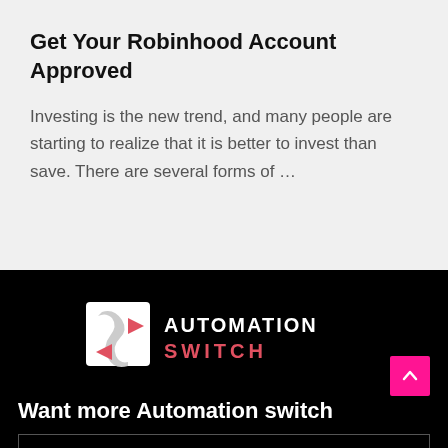Get Your Robinhood Account Approved
Investing is the new trend, and many people are starting to realize that it is better to invest than save. There are several forms of …
[Figure (logo): Automation Switch logo on black background — white abstract swoosh icon with pink/red arrows on left, white and pink text reading AUTOMATION SWITCH on right]
Want more Automation switch
Email